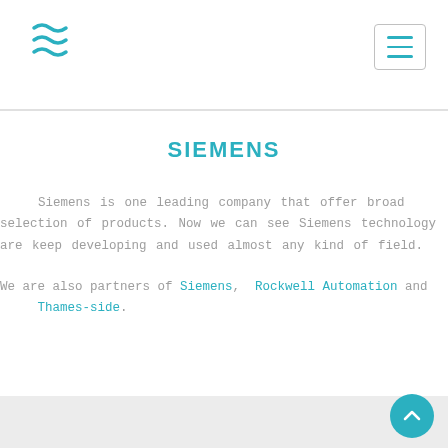Logo and navigation header with teal wave logo and hamburger menu
SIEMENS
Siemens is one leading company that offer broad selection of products. Now we can see Siemens technology are keep developing and used almost any kind of field.
We are also partners of Siemens, Rockwell Automation and Thames-side.
Footer bar with scroll-to-top button